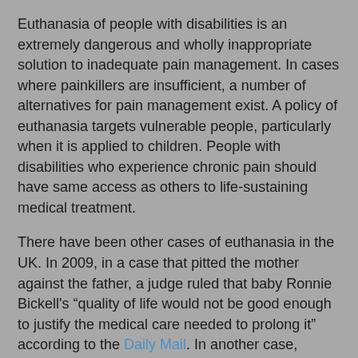Euthanasia of people with disabilities is an extremely dangerous and wholly inappropriate solution to inadequate pain management. In cases where painkillers are insufficient, a number of alternatives for pain management exist. A policy of euthanasia targets vulnerable people, particularly when it is applied to children. People with disabilities who experience chronic pain should have same access as others to life-sustaining medical treatment.
There have been other cases of euthanasia in the UK. In 2009, in a case that pitted the mother against the father, a judge ruled that baby Ronnie Bickell's "quality of life would not be good enough to justify the medical care needed to prolong it" according to the Daily Mail. In another case, Hannah Jones, then 13, refused a heart transplant that could have saved her life. Hannah's heart had been damaged by treatment for leukemia that she had suffered as a child. A court upheld her right to refuse treatment, but, a year later, she changed her mind and had the surgery.
In Holland, euthanasia is legal. Officially, about three percent of Dutch deaths are attributed to euthanasia, a rate that...